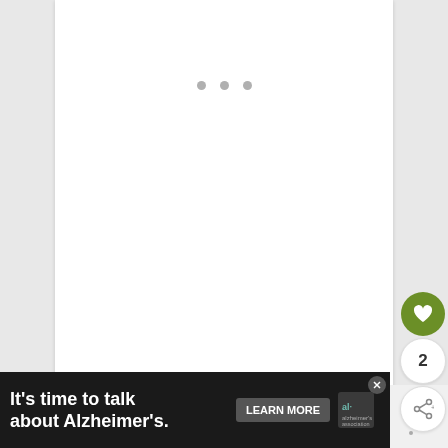[Figure (screenshot): Three gray dots at the top center of a white card area, indicating a loading or navigation indicator]
[Figure (screenshot): White empty card area showing a blank/loading image placeholder]
[Figure (screenshot): Green circular heart/like button, a white circular count button showing '2', and a white circular share button with a share icon on the right side of the card]
Beth John and I tend to catch small details
[Figure (screenshot): Alzheimer's Association advertisement banner: dark background with white text 'It's time to talk about Alzheimer's.', a 'LEARN MORE' button, and the Alzheimer's Association logo]